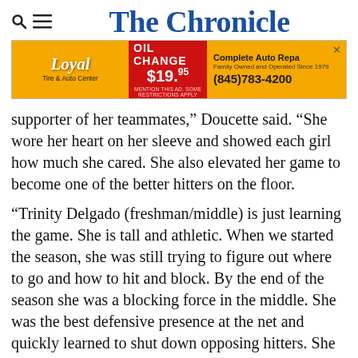The Chronicle
[Figure (infographic): Advertisement for Loyal Tire & Auto Center: Oil Change $19.95, Complete Auto Repair, Family Owned and Operated Since 1979, (845)783-4200]
supporter of her teammates,” Doucette said. “She wore her heart on her sleeve and showed each girl how much she cared. She also elevated her game to become one of the better hitters on the floor.
“Trinity Delgado (freshman/middle) is just learning the game. She is tall and athletic. When we started the season, she was still trying to figure out where to go and how to hit and block. By the end of the season she was a blocking force in the middle. She was the best defensive presence at the net and quickly learned to shut down opposing hitters. She has a bright future ahead of her.
“Isabella Steinberg (senior/outside hitter) made the